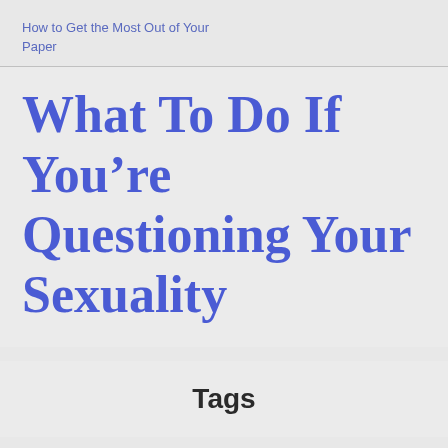How to Get the Most Out of Your Paper
What To Do If You’re Questioning Your Sexuality
Tags